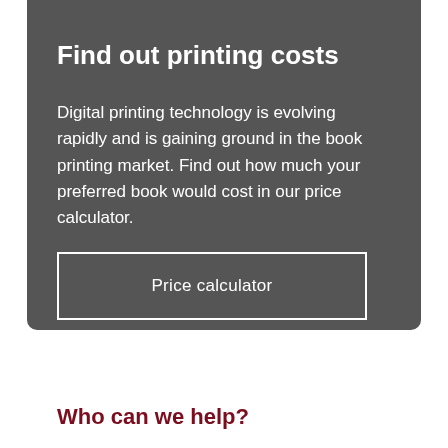Find out printing costs
Digital printing technology is evolving rapidly and is gaining ground in the book printing market. Find out how much your preferred book would cost in our price calculator.
Price calculator
Who can we help?